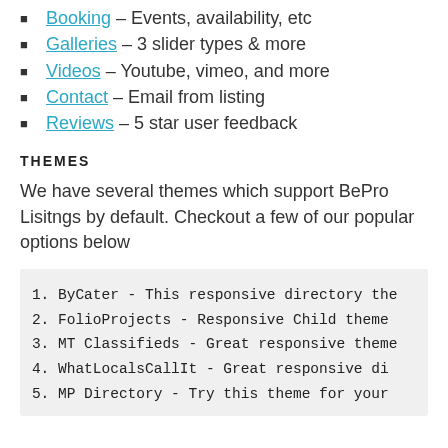Booking – Events, availability, etc
Galleries – 3 slider types & more
Videos – Youtube, vimeo, and more
Contact – Email from listing
Reviews – 5 star user feedback
THEMES
We have several themes which support BePro Lisitngs by default. Checkout a few of our popular options below
1. ByCater - This responsive directory the
2. FolioProjects - Responsive Child theme
3. MT Classifieds - Great responsive theme
4. WhatLocalsCallIt - Great responsive di
5. MP Directory - Try this theme for your